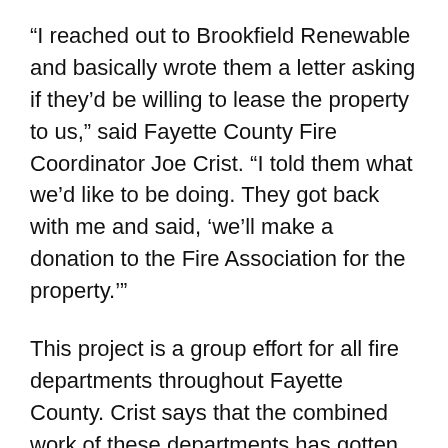“I reached out to Brookfield Renewable and basically wrote them a letter asking if they’d be willing to lease the property to us,” said Fayette County Fire Coordinator Joe Crist. “I told them what we’d like to be doing. They got back with me and said, ‘we’ll make a donation to the Fire Association for the property.’”
This project is a group effort for all fire departments throughout Fayette County. Crist says that the combined work of these departments has gotten the project off to a smooth start.
“We’ve got 15-16 fire departments in the county,” Crist said. “Everybody has pretty much been jumping in and donating their time and equipment.”
There are multiple phases in creating this training facility.